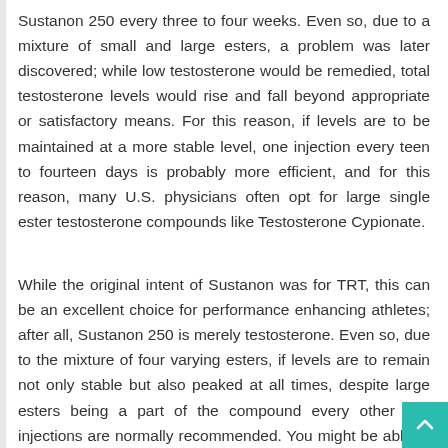Sustanon 250 every three to four weeks. Even so, due to a mixture of small and large esters, a problem was later discovered; while low testosterone would be remedied, total testosterone levels would rise and fall beyond appropriate or satisfactory means. For this reason, if levels are to be maintained at a more stable level, one injection every teen to fourteen days is probably more efficient, and for this reason, many U.S. physicians often opt for large single ester testosterone compounds like Testosterone Cypionate.
While the original intent of Sustanon was for TRT, this can be an excellent choice for performance enhancing athletes; after all, Sustanon 250 is merely testosterone. Even so, due to the mixture of four varying esters, if levels are to remain not only stable but also peaked at all times, despite large esters being a part of the compound every other day injections are normally recommended. You might be able to get by with three injections per week, but an every other day schedu will prove far more efficient. With all of this in mind, we wan